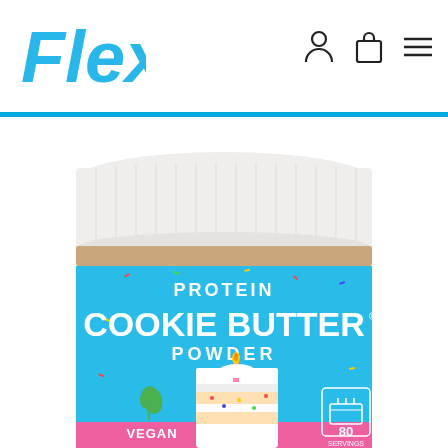[Figure (logo): Flex brand logo in blue cursive script]
[Figure (photo): Protein Cookie Butter Powder product jar with birthday cake flavor, light blue label, white lid, showing VEGAN text with leaf icon and 80 servings icon, birthday cake slice image on the label]